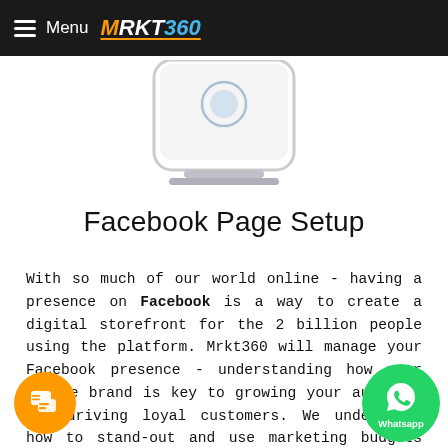Menu MRKT360
[Figure (illustration): Partial illustration of a mobile device or tablet screen with a circular icon, shown cropped at the top of the content area]
Facebook Page Setup
With so much of our world online - having a presence on Facebook is a way to create a digital storefront for the 2 billion people using the platform. Mrkt360 will manage your Facebook presence - understanding how your online brand is key to growing your audience and driving loyal customers. We understand how to stand-out and use marketing budgets strategically and resourcefully, in order to deliver the results that matter. Successfully creating and managing a Facebook page will help you develop your brand, grow